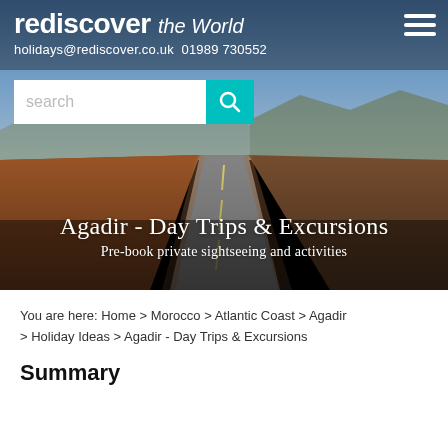[Figure (photo): Hero image: desert road stretching into the distance under a blue sky with mountains, overlaid with website header elements]
rediscover the World
holidays@rediscover.co.uk 01989 730552
Agadir - Day Trips & Excursions
Pre-book private sightseeing and activities
You are here: Home > Morocco > Atlantic Coast > Agadir > Holiday Ideas > Agadir - Day Trips & Excursions
Summary